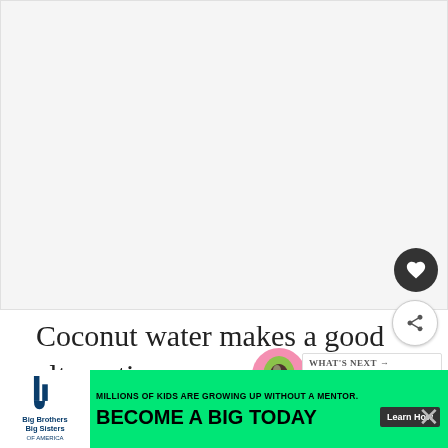[Figure (photo): Large image area at top of article page, appears mostly blank/white as a placeholder for an article image.]
Coconut water makes a good alternative to high-sugar sports drinks but Gatorade and other commercial sports drinks work too. You can…drink
[Figure (illustration): Avocado emoji/icon circle.]
WHAT'S NEXT → Vegan Macro Cheat Sheet
[Figure (infographic): Advertisement banner: Big Brothers Big Sisters. MILLIONS OF KIDS ARE GROWING UP WITHOUT A MENTOR. BECOME A BIG TODAY. Learn How button. Green background.]